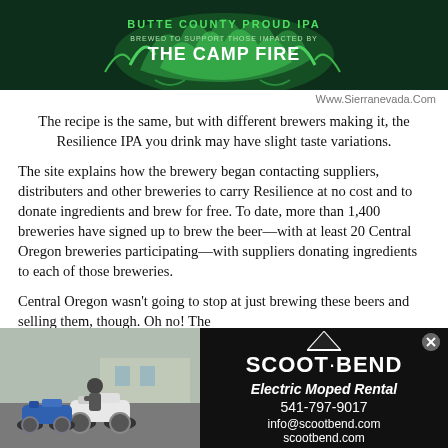[Figure (illustration): Dark green banner image with green flame/plant design and text reading 'BUTTE COUNTY PROUD IPA BREWED TO SUPPORT THOSE IMPACTED BY THE CAMP FIRE']
Www.Sierranevada.Com
The recipe is the same, but with different brewers making it, the Resilience IPA you drink may have slight taste variations.
The site explains how the brewery began contacting suppliers, distributers and other breweries to carry Resilience at no cost and to donate ingredients and brew for free. To date, more than 1,400 breweries have signed up to brew the beer—with at least 20 Central Oregon breweries participating—with suppliers donating ingredients to each of those breweries.
Central Oregon wasn't going to stop at just brewing these beers and selling them, though. Oh no! The
[Figure (photo): Photo of person with two electric mopeds/scooters outdoors]
[Figure (infographic): Scoot Bend advertisement: Electric Moped Rental, 541-797-9017, info@scootbend.com, scootbend.com]